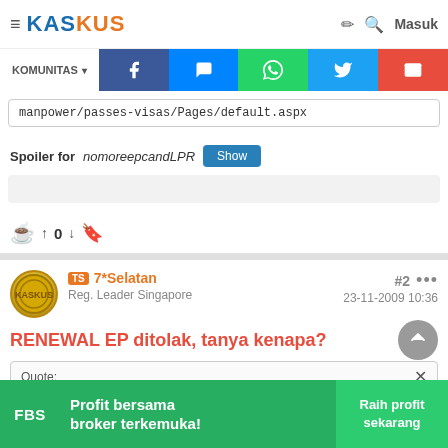KASKUS
KOMUNITAS
manpower/passes-visas/Pages/default.aspx
Spoiler for nomoreepcandLPR Show
↑ 0 ↓
TS 7*Selatan
Reg. Leader Singapore
#2
23-11-2009 10:36
RENEWAL EP ditolak, tanya kenapa?
Quote:
[Figure (screenshot): FBS advertisement banner: Profit bersama broker terkemuka! Raih profit sekarang]